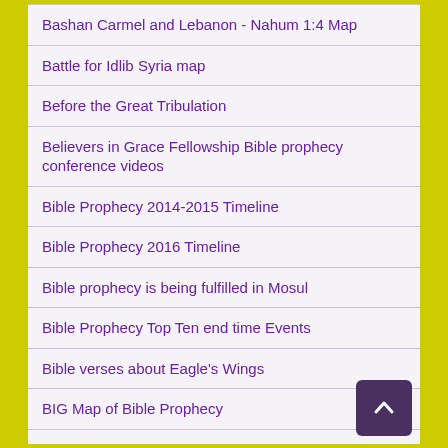Bashan Carmel and Lebanon - Nahum 1:4 Map
Battle for Idlib Syria map
Before the Great Tribulation
Believers in Grace Fellowship Bible prophecy conference videos
Bible Prophecy 2014-2015 Timeline
Bible Prophecy 2016 Timeline
Bible prophecy is being fulfilled in Mosul
Bible Prophecy Top Ten end time Events
Bible verses about Eagle's Wings
BIG Map of Bible Prophecy
Can I be saved? I'm not perfect!
Caution! Russia in Bible Prophecy